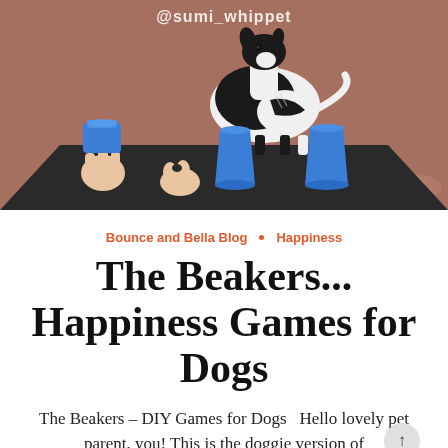[Figure (illustration): Illustrated image of a black and white whippet dog standing on a dark table surface with three blue cups/beakers in front of it (shell game setup). Two human hands are visible — one lifting a blue cup, the other holding a small object (treat). Brown background with @sumi_whippet watermark text at top center.]
Bounce and Bella Blog · Happiness
The Beakers... Happiness Games for Dogs
The Beakers – DIY Games for Dogs   Hello lovely pet parent, you! This is the doggie version of